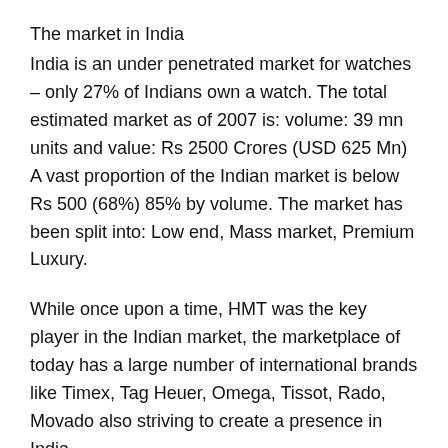The market in India
India is an under penetrated market for watches – only 27% of Indians own a watch. The total estimated market as of 2007 is: volume: 39 mn units and value: Rs 2500 Crores (USD 625 Mn) A vast proportion of the Indian market is below Rs 500 (68%) 85% by volume. The market has been split into: Low end, Mass market, Premium Luxury.
While once upon a time, HMT was the key player in the Indian market, the marketplace of today has a large number of international brands like Timex, Tag Heuer, Omega, Tissot, Rado, Movado also striving to create a presence in India.
Timex, a subsidiary of Timex Corp, USA started business in India in 1991 through a joint venture with